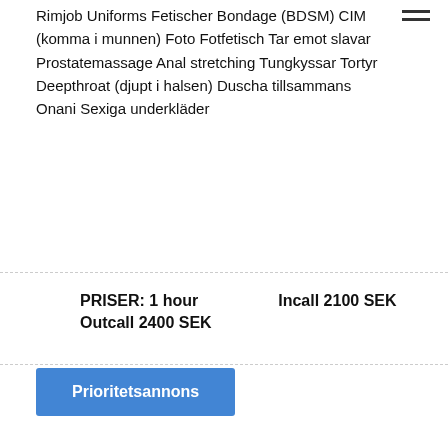Rimjob Uniforms Fetischer Bondage (BDSM) CIM (komma i munnen) Foto Fotfetisch Tar emot slavar Prostatemassage Anal stretching Tungkyssar Tortyr Deepthroat (djupt i halsen) Duscha tillsammans Onani Sexiga underkläder
PRISER: 1 hour   Incall 2100 SEK
Outcall 2400 SEK
Prioritetsannons
[Figure (photo): Photo of blonde woman with blue eyes]
[Figure (photo): Circular photo of woman with pink hair]
Elise Stad: S... Inlagd: 17:... Profil: 462... Verification... Outcall Info